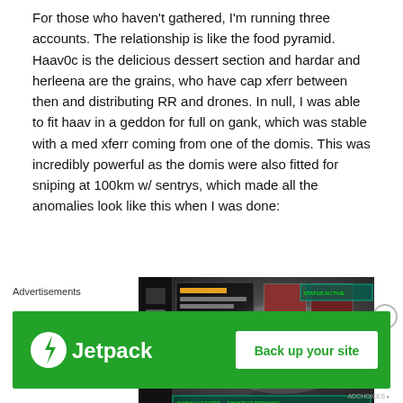For those who haven't gathered, I'm running three accounts. The relationship is like the food pyramid. Haav0c is the delicious dessert section and hardar and herleena are the grains, who have cap xferr between then and distributing RR and drones. In null, I was able to fit haav in a geddon for full on gank, which was stable with a med xferr coming from one of the domis. This was incredibly powerful as the domis were also fitted for sniping at 100km w/ sentrys, which made all the anomalies look like this when I was done:
[Figure (screenshot): EVE Online game screenshot showing a space anomaly interface with ship cards and status panels]
Advertisements
[Figure (other): Jetpack advertisement banner with green background, Jetpack logo, and 'Back up your site' button]